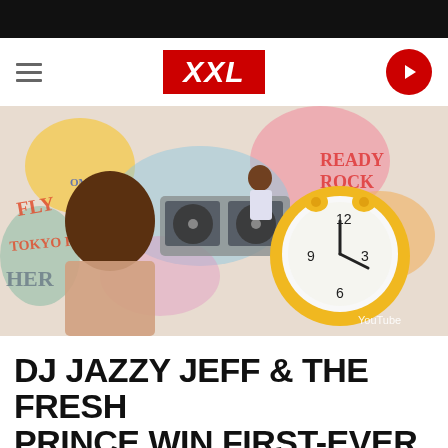XXL
[Figure (photo): DJ Jazzy Jeff and The Fresh Prince music video still showing a young man in the foreground holding a large yellow alarm clock watch, with a DJ setup and graffiti-style colorful illustrated backdrop in the background. YouTube watermark visible in bottom right.]
DJ JAZZY JEFF & THE FRESH PRINCE WIN FIRST-EVER MTV